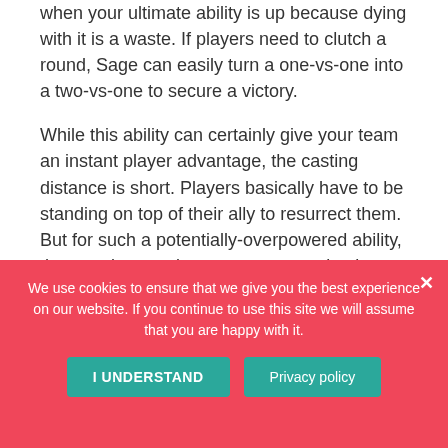when your ultimate ability is up because dying with it is a waste. If players need to clutch a round, Sage can easily turn a one-vs-one into a two-vs-one to secure a victory.
While this ability can certainly give your team an instant player advantage, the casting distance is short. Players basically have to be standing on top of their ally to resurrect them. But for such a potentially-overpowered ability, that requirement is necessary to maintain game balance.
We use cookies to ensure that we give you the best experience on our website. If you continue to use this site we will assume that you are happy with it.